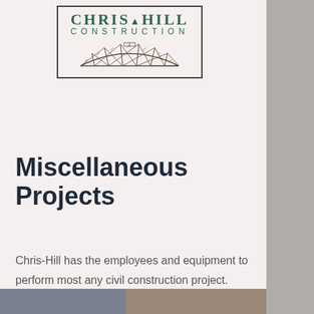[Figure (logo): Chris-Hill Construction logo with bridge graphic]
Miscellaneous Projects
Chris-Hill has the employees and equipment to perform most any civil construction project. Here are a few of our more interesting miscellaneous projects performed over the past few years.
[Figure (photo): Partial photo visible at bottom of page]